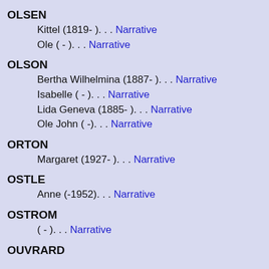OLSEN
Kittel (1819- ). . . Narrative
Ole ( - ). . . Narrative
OLSON
Bertha Wilhelmina (1887- ). . . Narrative
Isabelle ( - ). . . Narrative
Lida Geneva (1885- ). . . Narrative
Ole John ( -). . . Narrative
ORTON
Margaret (1927- ). . . Narrative
OSTLE
Anne (-1952). . . Narrative
OSTROM
( - ). . . Narrative
OUVRARD